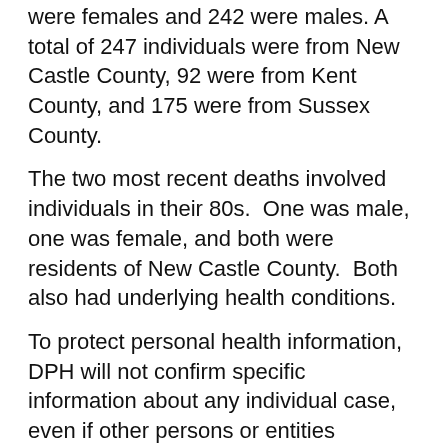were females and 242 were males. A total of 247 individuals were from New Castle County, 92 were from Kent County, and 175 were from Sussex County.
The two most recent deaths involved individuals in their 80s.  One was male, one was female, and both were residents of New Castle County.  Both also had underlying health conditions.
To protect personal health information, DPH will not confirm specific information about any individual case, even if other persons or entities disclose it independently.
The latest Delaware COVID-19 case statistics* cumulatively since March 11, provided as of 6 p.m., Monday, July 6, include:
• 12,414 total positive cases
• New Castle County cases: 5,555
• Kent County cases: 1,784